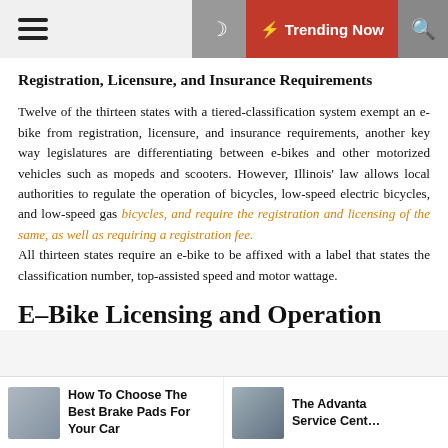☰  ☽  ⚡ Trending Now  🔍
Registration, Licensure, and Insurance Requirements
Twelve of the thirteen states with a tiered-classification system exempt an e-bike from registration, licensure, and insurance requirements, another key way legislatures are differentiating between e-bikes and other motorized vehicles such as mopeds and scooters. However, Illinois' law allows local authorities to regulate the operation of bicycles, low-speed electric bicycles, and low-speed gas bicycles, and require the registration and licensing of the same, as well as requiring a registration fee.
All thirteen states require an e-bike to be affixed with a label that states the classification number, top-assisted speed and motor wattage.
E-Bike Licensing and Operation
[Figure (photo): Thumbnail image of brake pads]
How To Choose The Best Brake Pads For Your Car
[Figure (photo): Thumbnail image of a car at a service center]
The Advantages of Service Center